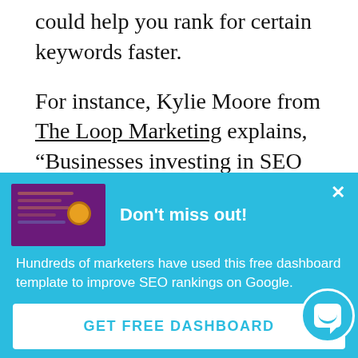could help you rank for certain keywords faster.
For instance, Kylie Moore from The Loop Marketing explains, “Businesses investing in SEO should begin to at least see a measurable difference (e.g. increased traffic and leads) within 6 to
[Figure (screenshot): A popup/modal overlay with a blue background. Contains a thumbnail image showing a purple dashboard, a bold white heading 'Don’t miss out!', a close X button, body text 'Hundreds of marketers have used this free dashboard template to improve SEO rankings on Google.', a white GET FREE DASHBOARD button, and a chat bubble in the bottom right corner.]